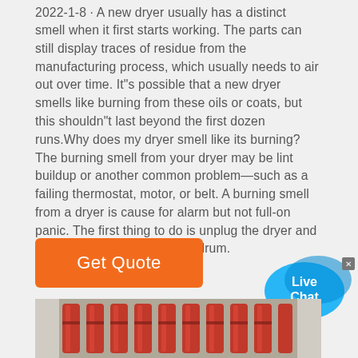2022-1-8 · A new dryer usually has a distinct smell when it first starts working. The parts can still display traces of residue from the manufacturing process, which usually needs to air out over time. It"s possible that a new dryer smells like burning from these oils or coats, but this shouldn"t last beyond the first dozen runs.Why does my dryer smell like its burning?The burning smell from your dryer may be lint buildup or another common problem—such as a failing thermostat, motor, or belt. A burning smell from a dryer is cause for alarm but not full-on panic. The first thing to do is unplug the dryer and remove the clothes from the drum.
[Figure (other): Live Chat speech bubble widget with cyan/blue color and white text]
[Figure (other): Orange 'Get Quote' button]
[Figure (photo): Industrial equipment photo showing red metal roller/conveyor parts in a metal housing, viewed from above]